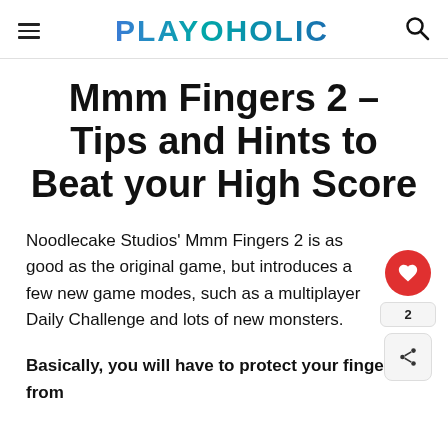PLAYOHOLIC
Mmm Fingers 2 – Tips and Hints to Beat your High Score
Noodlecake Studios' Mmm Fingers 2 is as good as the original game, but introduces a few new game modes, such as a multiplayer Daily Challenge and lots of new monsters.
Basically, you will have to protect your finger from